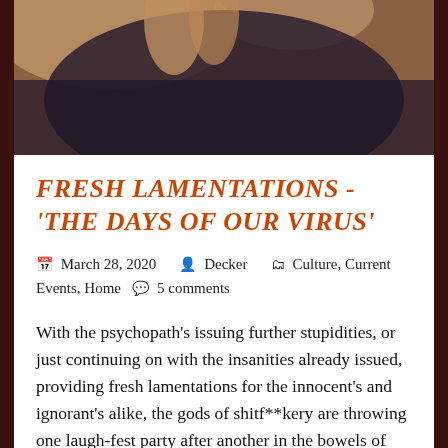[Figure (photo): Partial photo of a person with hand raised near face, dark moody background with grain effect]
FRESH LAMENTATIONS - 'THE DAYS OF OUR VIRUS'
March 28, 2020  Decker  Culture, Current Events, Home  5 comments
With the psychopath's issuing further stupidities, or just continuing on with the insanities already issued, providing fresh lamentations for the innocent's and ignorant's alike, the gods of shitf**kery are throwing one laugh-fest party after another in the bowels of Gehenna, witnessing 100% compliance to their shit-orders